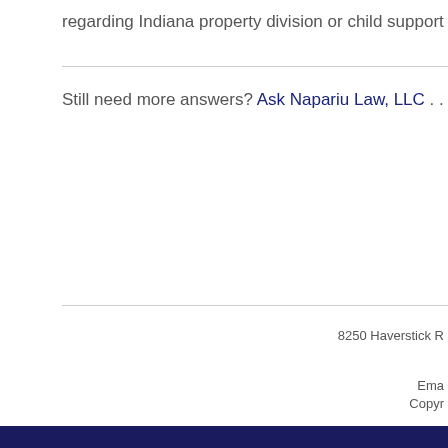regarding Indiana property division or child support laws
Still need more answers? Ask Napariu Law, LLC . . . We
8250 Haverstick R
Ema
Copyr